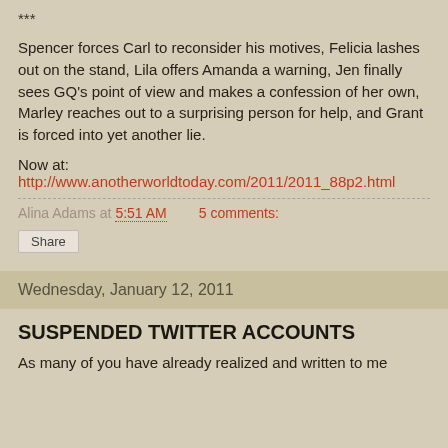***
Spencer forces Carl to reconsider his motives, Felicia lashes out on the stand, Lila offers Amanda a warning, Jen finally sees GQ's point of view and makes a confession of her own, Marley reaches out to a surprising person for help, and Grant is forced into yet another lie.
Now at:
http://www.anotherworldtoday.com/2011/2011_88p2.html
Alina Adams at 5:51 AM   5 comments:
Share
Wednesday, January 12, 2011
SUSPENDED TWITTER ACCOUNTS
As many of you have already realized and written to me